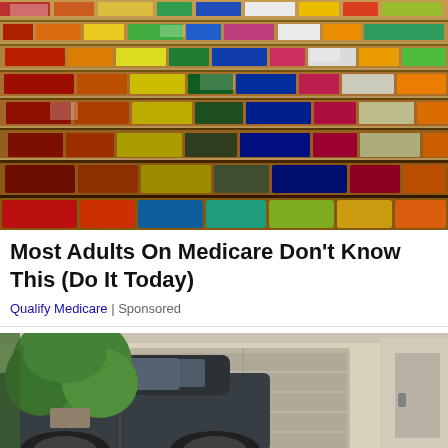[Figure (photo): Overhead view of a crowded supermarket aisle with colorful product-filled shelves stretching into the distance]
Most Adults On Medicare Don't Know This (Do It Today)
Qualify Medicare | Sponsored
[Figure (photo): A car parked in front of a house with a garage door and green topiary bush visible]